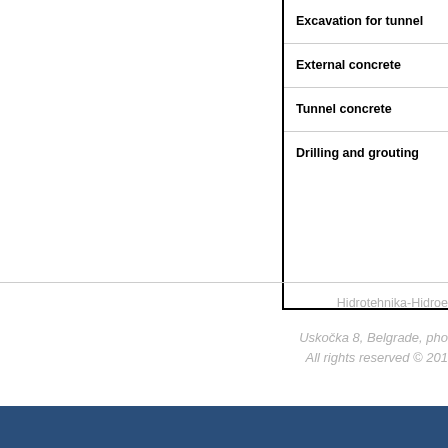| Excavation for tunnel |
| External concrete |
| Tunnel concrete |
| Drilling and grouting |
Hidrotehnika-Hidroe
Uskočka 8, Belgrade, pho
All rights reserved © 201